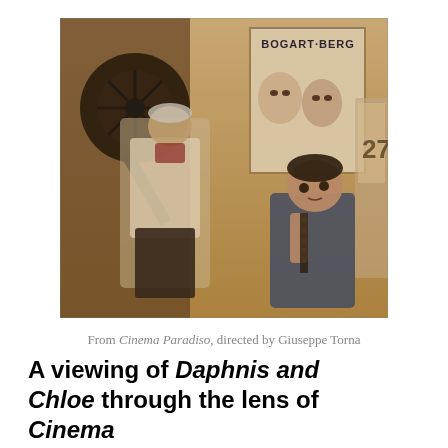[Figure (photo): A scene from Cinema Paradiso showing an older man working with film reels at a projection booth, and a young boy looking on, with a Bogart/Bergman movie poster visible in the background.]
From Cinema Paradiso, directed by Giuseppe Torna
A viewing of Daphnis and Chloe through the lens of Cinema Paradiso